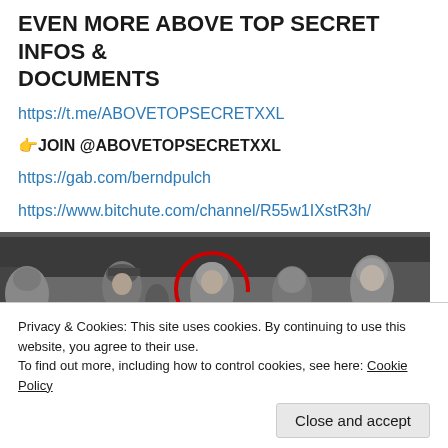EVEN MORE ABOVE TOP SECRET INFOS & DOCUMENTS
https://t.me/ABOVETOPSECRETXXL
👉JOIN @ABOVETOPSECRETXXL
https://gab.com/berndpulch
https://www.bitchute.com/channel/R55w1IXstR3h/
[Figure (photo): Black and white photograph of a group of people in military or period attire, with one person highlighted by a red circle.]
Privacy & Cookies: This site uses cookies. By continuing to use this website, you agree to their use.
To find out more, including how to control cookies, see here: Cookie Policy
Close and accept